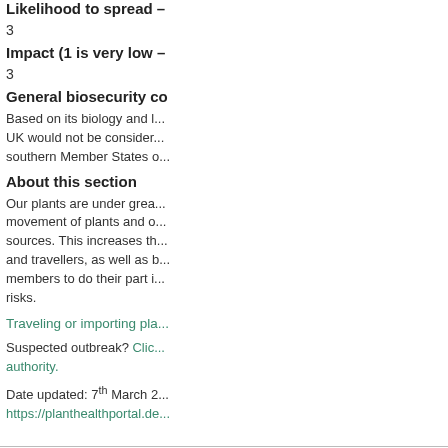Likelihood to spread –
3
Impact (1 is very low –
3
General biosecurity co
Based on its biology and l... UK would not be consider... southern Member States o...
About this section
Our plants are under grea... movement of plants and o... sources. This increases th... and travellers, as well as b... members to do their part i... risks.
Traveling or importing pla...
Suspected outbreak? Clic... authority.
Date updated: 7th March 2... https://planthealthportal.de...